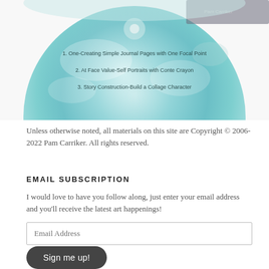[Figure (photo): Bottom portion of a CD/DVD disc with teal/blue artistic design. Text on the disc reads: 1. One-Creating Simple Journal Pages with One Focal Point, 2. At Face Value-Self Portraits with Conte Crayon, 3. Story Construction-Build a Collage Character. Artist name visible at top right of disc.]
Unless otherwise noted, all materials on this site are Copyright © 2006-2022 Pam Carriker. All rights reserved.
EMAIL SUBSCRIPTION
I would love to have you follow along, just enter your email address and you'll receive the latest art happenings!